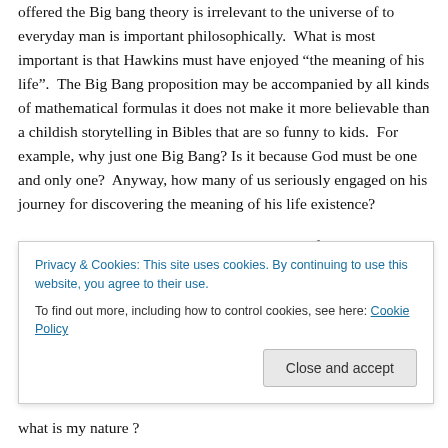offered the Big bang theory is irrelevant to the universe of to everyday man is important philosophically. What is most important is that Hawkins must have enjoyed “the meaning of his life”. The Big Bang proposition may be accompanied by all kinds of mathematical formulas it does not make it more believable than a childish storytelling in Bibles that are so funny to kids. For example, why just one Big Bang? Is it because God must be one and only one? Anyway, how many of us seriously engaged on his journey for discovering the meaning of his life existence?
Current nuclear physicists are fundamentally pre-
what is my nature ?